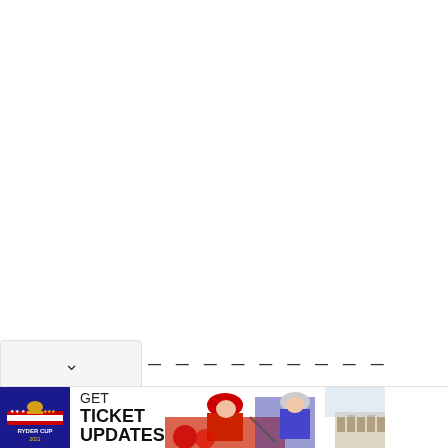[Figure (other): White blank area taking up the majority of the page]
[Figure (other): Dropdown chevron button UI element]
— — — — — — — — —
[Figure (other): Ryder Cup 2021 advertisement banner. Shows Ryder Cup logo on left, text 'GET TICKET UPDATES' in center-left, golfers in red and blue uniforms in center-right, Colosseum in background on far right. AdChoices icon in top-right corner with close X button.]